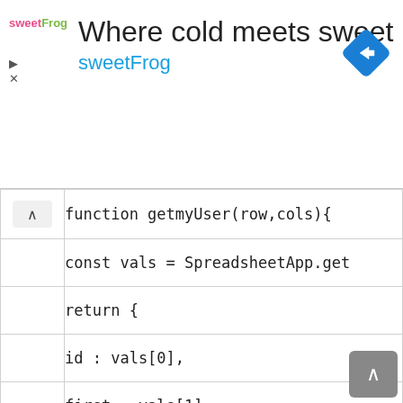[Figure (screenshot): SweetFrog advertisement banner with logo, title 'Where cold meets sweet', subtitle 'sweetFrog', and a blue navigation/directions diamond icon on the right. Play and close icons on the left.]
function getmyUser(row,cols){
const vals = SpreadsheetApp.get
return {
id : vals[0],
first : vals[1],
last : vals[2],
email : vals[3],
row : row
}